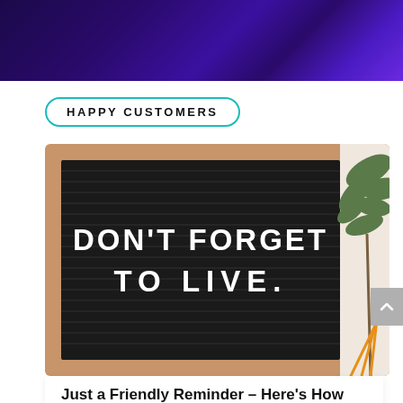[Figure (other): Dark purple/blue gradient header banner background]
HAPPY CUSTOMERS
[Figure (photo): Photo of a black letterboard in a wooden frame displaying the text 'DON'T FORGET TO LIVE.' with a green plant and orange sticks in the background on a light surface.]
Just a Friendly Reminder – Here's How